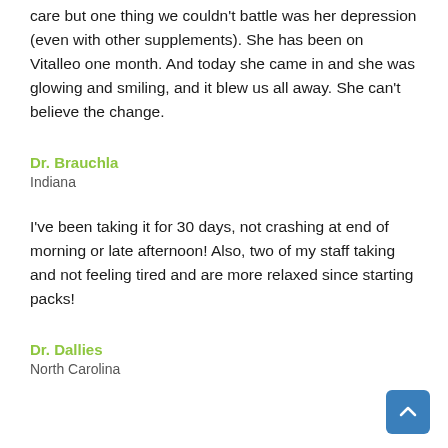care but one thing we couldn't battle was her depression (even with other supplements). She has been on Vitalleo one month. And today she came in and she was glowing and smiling, and it blew us all away. She can't believe the change.
Dr. Brauchla
Indiana
I've been taking it for 30 days, not crashing at end of morning or late afternoon! Also, two of my staff taking and not feeling tired and are more relaxed since starting packs!
Dr. Dallies
North Carolina